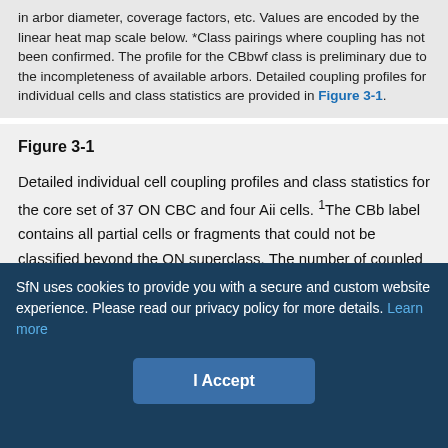in arbor diameter, coverage factors, etc. Values are encoded by the linear heat map scale below. *Class pairings where coupling has not been confirmed. The profile for the CBbwf class is preliminary due to the incompleteness of available arbors. Detailed coupling profiles for individual cells and class statistics are provided in Figure 3-1.
Figure 3-1
Detailed individual cell coupling profiles and class statistics for the core set of 37 ON CBC and four Aii cells. 1The CBb label contains all partial cells or fragments that could not be classified beyond the ON superclass. The number of coupled cells and number of gap junctions per cell were not quantified. 2Most partner xACs exist as fragments, only sufficiently traced and
SfN uses cookies to provide you with a secure and custom website experience. Please read our privacy policy for more details. Learn more